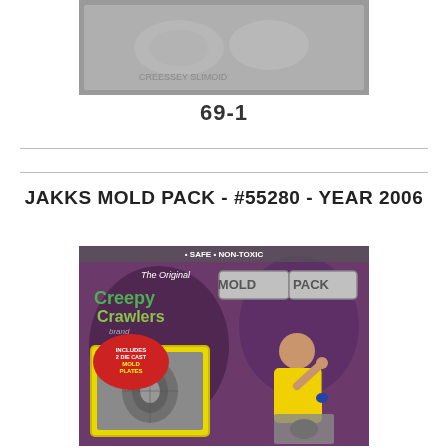[Figure (photo): Gray metallic mold plate showing embossed creature design, close-up view]
69-1
JAKKS MOLD PACK - #55280 - YEAR 2006
[Figure (photo): Creepy Crawlers Mold Pack product box packaging showing the Original Creepy Crawlers brand logo, MOLD PACK text, a boy holding a bug, includes 2 die cast mold plates badge, purple background with a yellow-framed mold plate display]